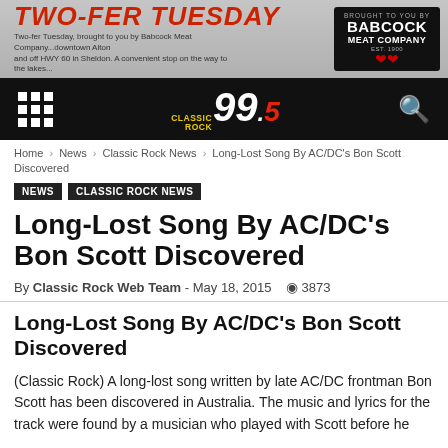[Figure (infographic): Two-Fer Tuesday banner advertisement for Babcock Meat Company, with red stylized text 'TWO-FER TUESDAY' and Babcock logo on right]
[Figure (logo): Classic Rock 99.5 radio station navigation bar with grid menu icon on left, yellow and white logo in center, search icon on right, on black background]
Home › News › Classic Rock News › Long-Lost Song By AC/DC's Bon Scott Discovered
NEWS   CLASSIC ROCK NEWS
Long-Lost Song By AC/DC's Bon Scott Discovered
By Classic Rock Web Team - May 18, 2015  👁 3873
Long-Lost Song By AC/DC's Bon Scott Discovered
(Classic Rock) A long-lost song written by late AC/DC frontman Bon Scott has been discovered in Australia. The music and lyrics for the track were found by a musician who played with Scott before he